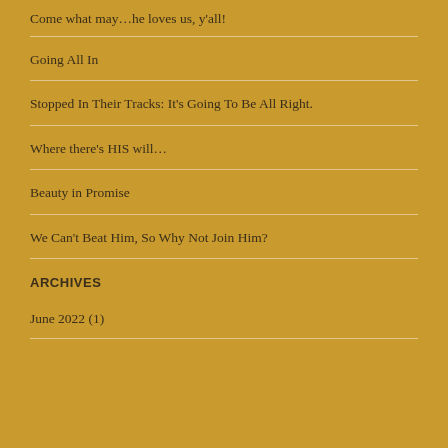Come what may…he loves us, y'all!
Going All In
Stopped In Their Tracks: It's Going To Be All Right.
Where there's HIS will…
Beauty in Promise
We Can't Beat Him, So Why Not Join Him?
ARCHIVES
June 2022 (1)